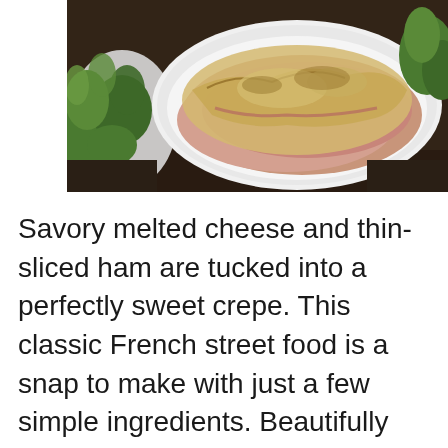[Figure (photo): A white oval dish containing crepes filled with thin-sliced ham and melted cheese, served with fresh green herbs/arugula on the side, photographed from above on a dark wooden surface.]
Savory melted cheese and thin-sliced ham are tucked into a perfectly sweet crepe. This classic French street food is a snap to make with just a few simple ingredients. Beautifully crisp around the edges and beyond gooey inside, this dish is delectable in the morning or for snack time. Get the full recipe